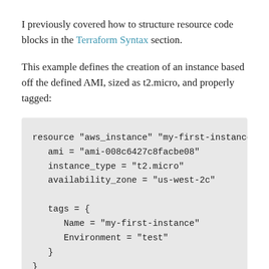I previously covered how to structure resource code blocks in the Terraform Syntax section.
This example defines the creation of an instance based off the defined AMI, sized as t2.micro, and properly tagged:
resource "aws_instance" "my-first-instance" {
  ami = "ami-008c6427c8facbe08"
  instance_type = "t2.micro"
  availability_zone = "us-west-2c"

  tags = {
    Name = "my-first-instance"
    Environment = "test"
  }
}